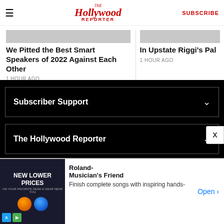The Hollywood Reporter | SUBSCRIBE
We Pitted the Best Smart Speakers of 2022 Against Each Other
1 HOUR AGO
In Upstate Riggi's Pal
1 HOUR AGO
Subscriber Support
The Hollywood Reporter
[Figure (screenshot): Advertisement banner for Roland via Musician's Friend showing NEW LOWER PRICES with orange and blue circular icons]
Roland- Musician's Friend
Finish complete songs with inspiring hands-